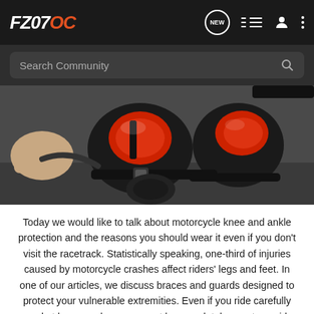FZ07OC
[Figure (photo): Close-up of motorcycle knee and ankle protection gear, showing red and black armor/braces with straps, held by a person's hand]
Today we would like to talk about motorcycle knee and ankle protection and the reasons you should wear it even if you don't visit the racetrack. Statistically speaking, one-third of injuries caused by motorcycle crashes affect riders' legs and feet. In one of our articles, we discuss braces and guards designed to protect your vulnerable extremities. Even if you ride carefully and at low speeds, you cannot be completely sure to avoid accidents caused by careless drivers and other unexpected